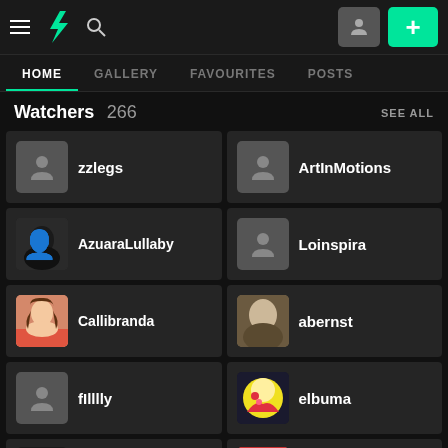DeviantArt navigation bar with hamburger menu, DA logo, search icon, profile button, and plus button
HOME | GALLERY | FAVOURITES | POSTS
Watchers 266
zzlegs
ArtInMotions
AzuaraLullaby
Loinspira
Callibranda
abernst
fIlllly
elbuma